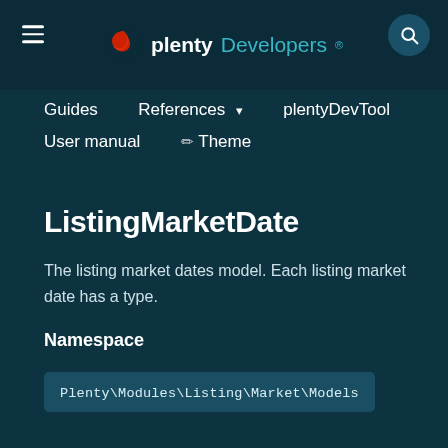plentyDevelopers
Guides
References
plentyDevTool
User manual
Theme
ListingMarketDate
The listing market dates model. Each listing market date has a type.
Namespace
Plenty\Modules\Listing\Market\Models